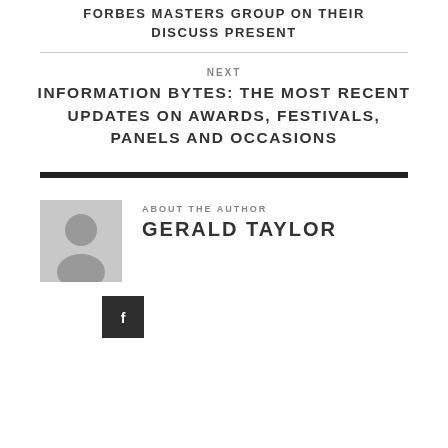FORBES MASTERS GROUP ON THEIR DISCUSS PRESENT
NEXT
INFORMATION BYTES: THE MOST RECENT UPDATES ON AWARDS, FESTIVALS, PANELS AND OCCASIONS
ABOUT THE AUTHOR
GERALD TAYLOR
[Figure (illustration): Generic author avatar placeholder showing a silhouette of a person on a grey background]
[Figure (other): Small dark square social media icon button]